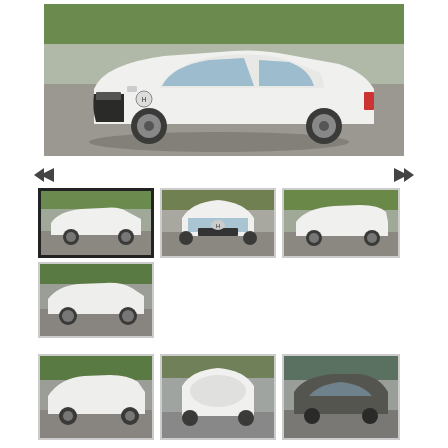[Figure (photo): Large main photo of a white Hyundai Sonata sedan, front three-quarter view, parked on a paved surface with green grass and trees in background]
[Figure (photo): Navigation arrows (back/forward) for photo gallery]
[Figure (photo): Thumbnail 1 (selected): white Hyundai Sonata, side-front view]
[Figure (photo): Thumbnail 2: white Hyundai Sonata, front view]
[Figure (photo): Thumbnail 3: white Hyundai Sonata, side view from right]
[Figure (photo): Thumbnail 4: white Hyundai Sonata, rear three-quarter view]
[Figure (photo): Thumbnail row 2, photo 1: white Hyundai Sonata, side view]
[Figure (photo): Thumbnail row 2, photo 2: white Hyundai Sonata, front/roof view]
[Figure (photo): Thumbnail row 2, photo 3: dark colored car, top/rear view]